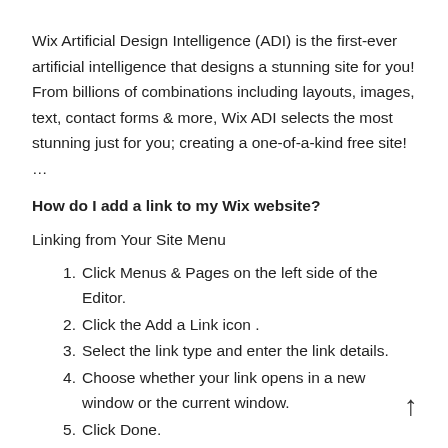Wix Artificial Design Intelligence (ADI) is the first-ever artificial intelligence that designs a stunning site for you! From billions of combinations including layouts, images, text, contact forms & more, Wix ADI selects the most stunning just for you; creating a one-of-a-kind free site! ...
How do I add a link to my Wix website?
Linking from Your Site Menu
1. Click Menus & Pages on the left side of the Editor.
2. Click the Add a Link icon .
3. Select the link type and enter the link details.
4. Choose whether your link opens in a new window or the current window.
5. Click Done.
6. Enter the name for the menu item.